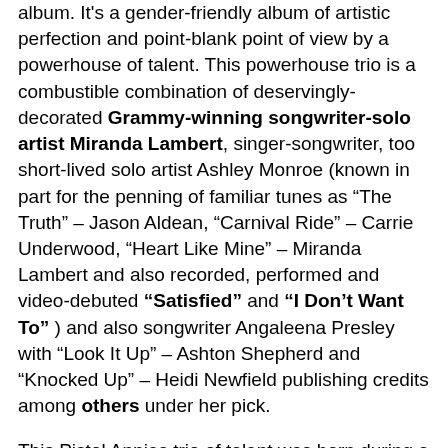album. It's a gender-friendly album of artistic perfection and point-blank point of view by a powerhouse of talent. This powerhouse trio is a combustible combination of deservingly-decorated Grammy-winning songwriter-solo artist Miranda Lambert, singer-songwriter, too short-lived solo artist Ashley Monroe (known in part for the penning of familiar tunes as “The Truth” – Jason Aldean, “Carnival Ride” – Carrie Underwood, “Heart Like Mine” – Miranda Lambert and also recorded, performed and video-debuted “Satisfied” and “I Don’t Want To” ) and also songwriter Angaleena Presley with “Look It Up” – Ashton Shepherd and “Knocked Up” – Heidi Newfield publishing credits among others under her pick.
This Pistol Annies trio of talent was born during a songwriting session between Lambert and Monroe. While writing and sharing stories, Ashley decided Miranda and Angaleena needed to meet. A late night phone call...
[Figure (photo): Photo of three women (Pistol Annies) sitting/lounging together in a warmly lit room with window blinds visible in the background]